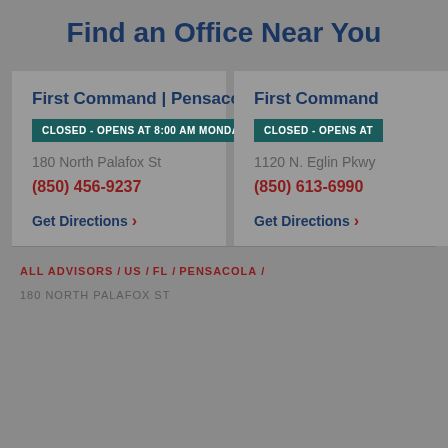Find an Office Near You
First Command | Pensacola
CLOSED - OPENS AT 8:00 AM MONDAY
180 North Palafox St
(850) 456-9237
Get Directions >
First Command
CLOSED - OPENS AT
1120 N. Eglin Pkwy
(850) 613-6990
Get Directions >
ALL ADVISORS / US / FL / PENSACOLA /
180 NORTH PALAFOX ST